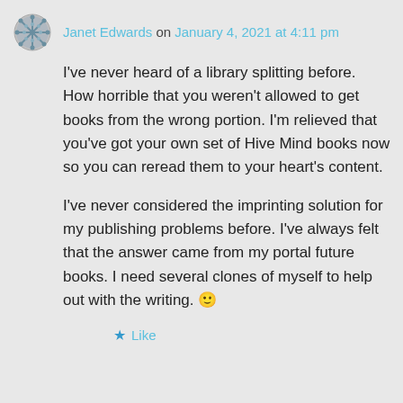Janet Edwards on January 4, 2021 at 4:11 pm
I've never heard of a library splitting before. How horrible that you weren't allowed to get books from the wrong portion. I'm relieved that you've got your own set of Hive Mind books now so you can reread them to your heart's content.
I've never considered the imprinting solution for my publishing problems before. I've always felt that the answer came from my portal future books. I need several clones of myself to help out with the writing. 🙂
★ Like